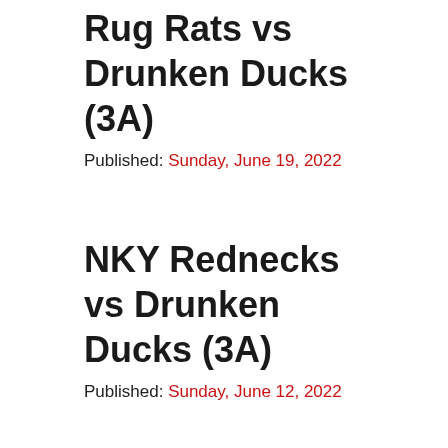Rug Rats vs Drunken Ducks (3A)
Published: Sunday, June 19, 2022
NKY Rednecks vs Drunken Ducks (3A)
Published: Sunday, June 12, 2022